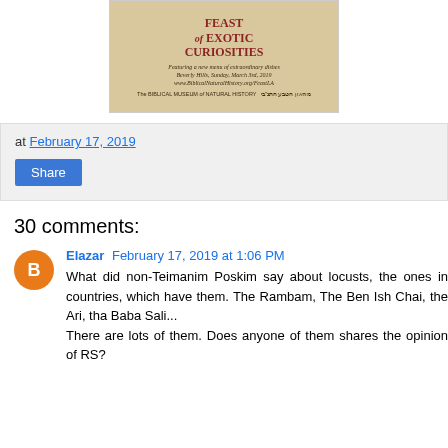[Figure (illustration): Event poster for 'Feast of Exotic Curiosities' by the Biblical Museum of Natural History, featuring a deer, birds, and text about the event in Beverly Hills, Sunday, March 3rd, 2019.]
at February 17, 2019
Share
30 comments:
Elazar  February 17, 2019 at 1:06 PM
What did non-Teimanim Poskim say about locusts, the ones in countries, which have them. The Rambam, The Ben Ish Chai, the Ari, tha Baba Sali...
There are lots of them. Does anyone of them shares the opinion of RS?